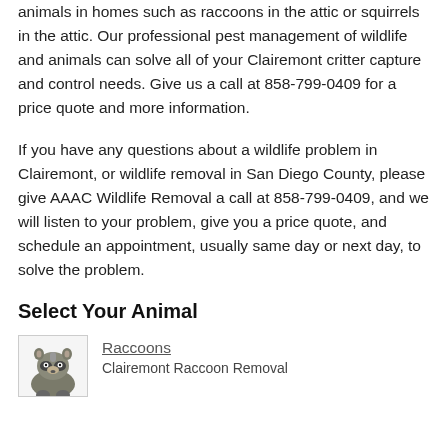animals in homes such as raccoons in the attic or squirrels in the attic. Our professional pest management of wildlife and animals can solve all of your Clairemont critter capture and control needs. Give us a call at 858-799-0409 for a price quote and more information.
If you have any questions about a wildlife problem in Clairemont, or wildlife removal in San Diego County, please give AAAC Wildlife Removal a call at 858-799-0409, and we will listen to your problem, give you a price quote, and schedule an appointment, usually same day or next day, to solve the problem.
Select Your Animal
[Figure (illustration): Illustration of a raccoon, shown from side/front angle in grey and black tones, partial view cut off at bottom of page]
Raccoons
Clairemont Raccoon Removal